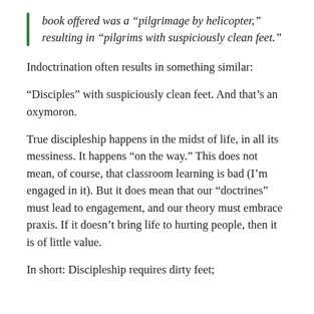book offered was a “pilgrimage by helicopter,” resulting in “pilgrims with suspiciously clean feet.”
Indoctrination often results in something similar:
“Disciples” with suspiciously clean feet. And that’s an oxymoron.
True discipleship happens in the midst of life, in all its messiness. It happens “on the way.” This does not mean, of course, that classroom learning is bad (I’m engaged in it). But it does mean that our “doctrines” must lead to engagement, and our theory must embrace praxis. If it doesn’t bring life to hurting people, then it is of little value.
In short: Discipleship requires dirty feet;